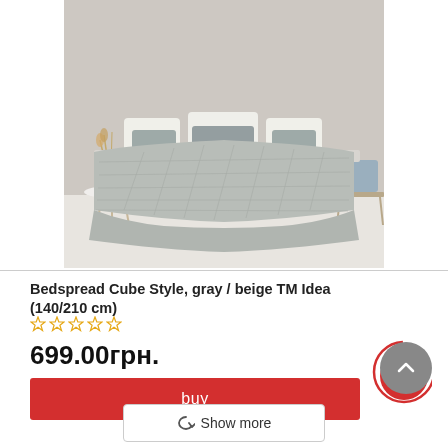[Figure (photo): A gray quilted bedspread (Cube Style) draped over a bed with gray pillows against a light wall. Side tables and a chair are visible.]
Bedspread Cube Style, gray / beige TM Idea (140/210 cm)
☆ ☆ ☆ ☆ ☆
699.00грн.
buy
Show more